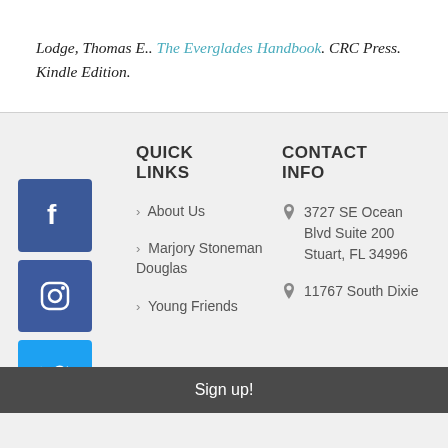Lodge, Thomas E.. The Everglades Handbook. CRC Press. Kindle Edition.
QUICK LINKS
CONTACT INFO
About Us
Marjory Stoneman Douglas
Young Friends
3727 SE Ocean Blvd Suite 200 Stuart, FL 34996
11767 South Dixie
Sign up!